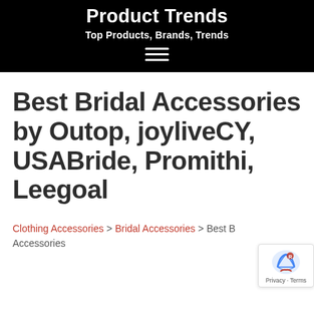Product Trends
Top Products, Brands, Trends
Best Bridal Accessories by Outop, joyliveCY, USABride, Promithi, Leegoal
Clothing Accessories > Bridal Accessories > Best Bridal Accessories